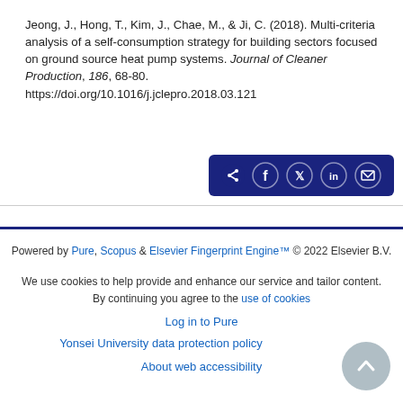Jeong, J., Hong, T., Kim, J., Chae, M., & Ji, C. (2018). Multi-criteria analysis of a self-consumption strategy for building sectors focused on ground source heat pump systems. Journal of Cleaner Production, 186, 68-80. https://doi.org/10.1016/j.jclepro.2018.03.121
[Figure (other): Share bar with icons for share, Facebook, Twitter, LinkedIn, and email on a dark navy background]
Powered by Pure, Scopus & Elsevier Fingerprint Engine™ © 2022 Elsevier B.V.
We use cookies to help provide and enhance our service and tailor content. By continuing you agree to the use of cookies
Log in to Pure
Yonsei University data protection policy
About web accessibility